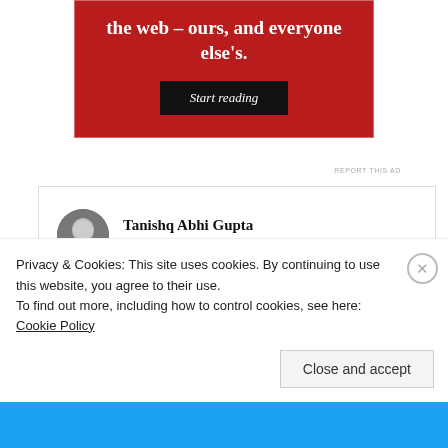[Figure (other): Red advertisement banner with white text reading 'the web – ours, and everyone else's.' and a 'Start reading' button]
REPORT THIS AD
Tanishq Abhi Gupta
5th Jul 2021 at 6:51 pm
Privacy & Cookies: This site uses cookies. By continuing to use this website, you agree to their use.
To find out more, including how to control cookies, see here: Cookie Policy
Close and accept